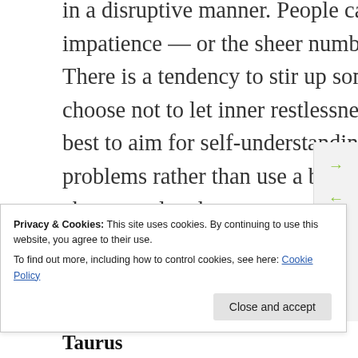in a disruptive manner. People can grate on your nerves, and your impatience — or the sheer number of things to do — doesn't help. There is a tendency to stir up some trouble or to act on a whim, but choose not to let inner restlessness set you back. It's best to aim for self-understanding so that you can get to the root of problems rather than use a band-aid fix. Worries about impending changes related to your career or reputation, or concerns about not being on top of things, can be part of this. Or, a fear of becoming less relevant in a business endeavor or
Privacy & Cookies: This site uses cookies. By continuing to use this website, you agree to their use.
To find out more, including how to control cookies, see here: Cookie Policy
Taurus